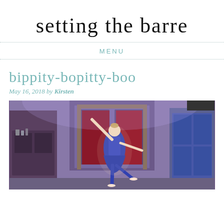setting the barre
MENU
bippity-bopitty-boo
May 16, 2018 by Kirsten
[Figure (photo): A ballet dancer in a blue/purple dress performing on stage, arms raised, on pointe, in what appears to be a theatrical stage set with furniture and curtains]